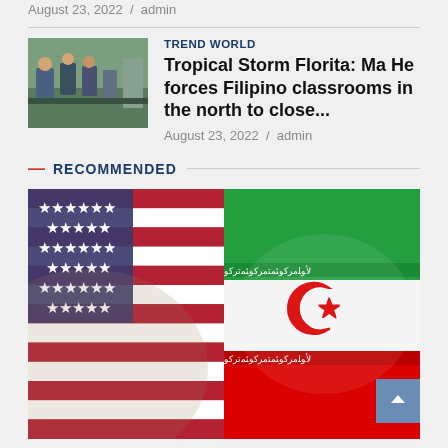August 23, 2022  /  admin
[Figure (photo): Thumbnail photo of students in a classroom]
TREND WORLD
Tropical Storm Florita: Ma He forces Filipino classrooms in the north to close...
August 23, 2022  /  admin
RECOMMENDED
[Figure (photo): Composite image of the US flag (left half) and Iranian flag (right half) side by side]